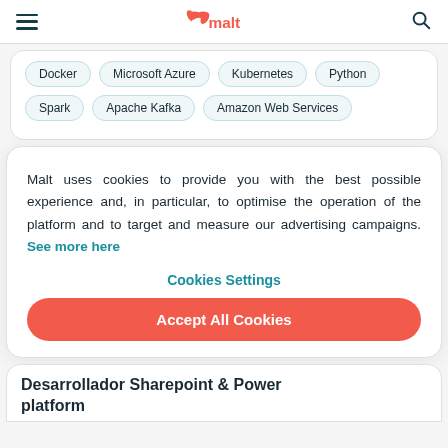malt
Docker
Microsoft Azure
Kubernetes
Python
Spark
Apache Kafka
Amazon Web Services
Malt uses cookies to provide you with the best possible experience and, in particular, to optimise the operation of the platform and to target and measure our advertising campaigns. See more here
Cookies Settings
Accept All Cookies
Desarrollador Sharepoint & Power platform